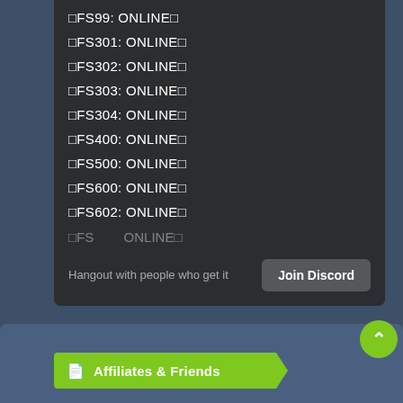□FS99: ONLINE□
□FS301: ONLINE□
□FS302: ONLINE□
□FS303: ONLINE□
□FS304: ONLINE□
□FS400: ONLINE□
□FS500: ONLINE□
□FS600: ONLINE□
□FS602: ONLINE□
Hangout with people who get it
Join Discord
Affiliates & Friends